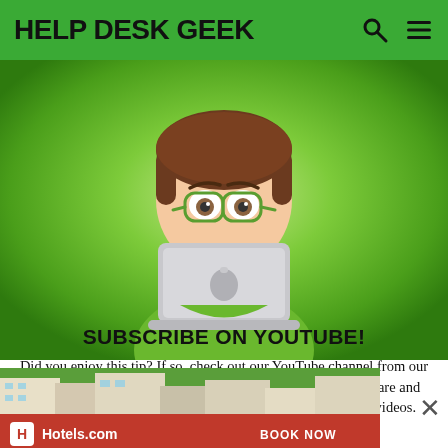HELP DESK GEEK
[Figure (illustration): Cartoon avatar of a person with brown hair, glasses, and green outfit, holding a silver Apple laptop in front of their face on a green background]
SUBSCRIBE ON YOUTUBE!
Did you enjoy this tip? If so, check out our YouTube channel from our sister site Online Tech Tips. We cover Windows, Mac, software and apps, and have a bunch of troubleshooting tips and how-to videos. Click the button below to subscribe!
[Figure (photo): Hotels.com advertisement banner showing aerial view of resort buildings surrounded by greenery, with Hotels.com logo and BOOK NOW button on red bar]